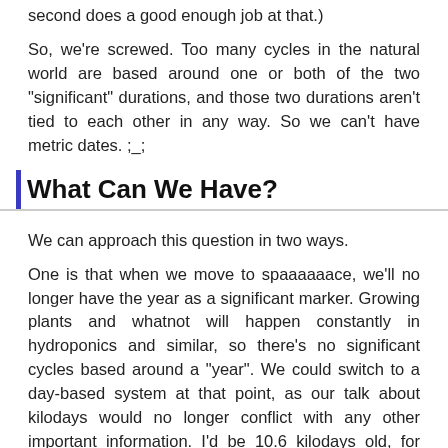second does a good enough job at that.)
So, we're screwed. Too many cycles in the natural world are based around one or both of the two "significant" durations, and those two durations aren't tied to each other in any way. So we can't have metric dates. ;_;
What Can We Have?
We can approach this question in two ways.
One is that when we move to spaaaaaace, we'll no longer have the year as a significant marker. Growing plants and whatnot will happen constantly in hydroponics and similar, so there's no significant cycles based around a "year". We could switch to a day-based system at that point, as our talk about kilodays would no longer conflict with any other important information. I'd be 10.6 kilodays old, for example.
(There'd be only a third as much birthdays then. Maybe we could celebrate half-birthdays more commonly?)